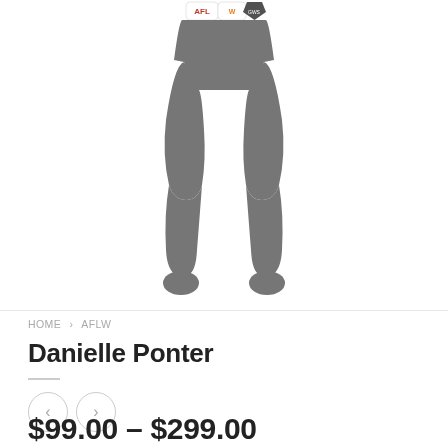[Figure (illustration): Gray silhouette of lower body (legs and shorts) of a sports player, with AFL, AFLW and team logos visible at the top of the shorts area.]
HOME > AFLW
Danielle Ponter
$99.00 – $299.00